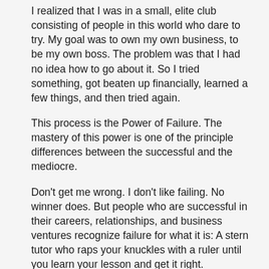I realized that I was in a small, elite club consisting of people in this world who dare to try. My goal was to own my own business, to be my own boss. The problem was that I had no idea how to go about it. So I tried something, got beaten up financially, learned a few things, and then tried again.
This process is the Power of Failure. The mastery of this power is one of the principle differences between the successful and the mediocre.
Don't get me wrong. I don't like failing. No winner does. But people who are successful in their careers, relationships, and business ventures recognize failure for what it is: A stern tutor who raps your knuckles with a ruler until you learn your lesson and get it right.
The mediocre of this world seek to avoid failure at all costs. They would rather do anything than suffer the heartache, embarrassment, and grief of falling on their face. They point to others' failure as proof of their wisdom in choosing not to